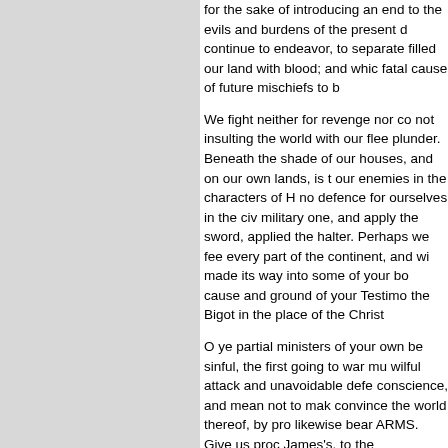for the sake of introducing an end to the evils and burdens of the present d continue to endeavor, to separate filled our land with blood; and whic fatal cause of future mischiefs to b
We fight neither for revenge nor co not insulting the world with our flee plunder. Beneath the shade of our houses, and on our own lands, is t our enemies in the characters of H no defence for ourselves in the civ military one, and apply the sword, applied the halter. Perhaps we fee every part of the continent, and wi made its way into some of your bo cause and ground of your Testimo the Bigot in the place of the Christ
O ye partial ministers of your own be sinful, the first going to war mu wilful attack and unavoidable defe conscience, and mean not to mak convince the world thereof, by pro likewise bear ARMS. Give us proc James's, to the commanders in ch who are practically ravaging our c are acting in authority under HIM v soul of Barclay (note-CmnSns-3)